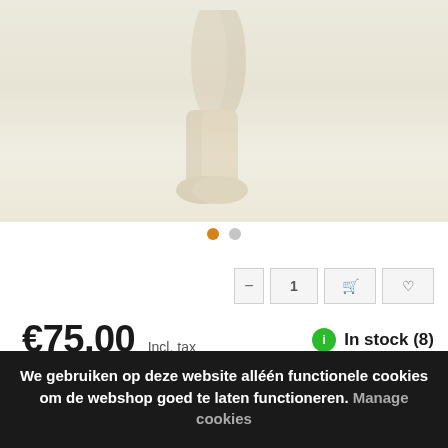[Figure (photo): Product photo of boots/footwear, faded/light background showing boot legs]
€75,00 Incl. tax
In stock (8)
Article number: HO-SJ-IT-GE
Delivery time: 1-2 days
We gebruiken op deze website alléén functionele cookies om de webshop goed te laten functioneren. Manage cookies